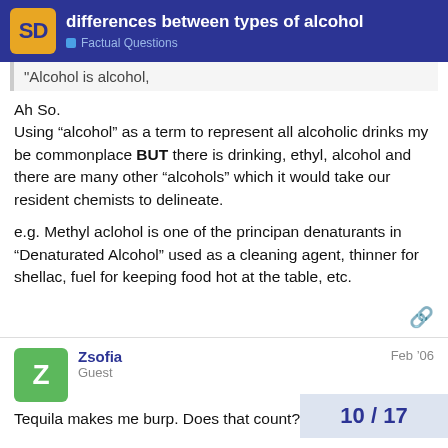SD | differences between types of alcohol | Factual Questions
Alcohol is alcohol,
Ah So.
Using “alcohol” as a term to represent all alcoholic drinks my be commonplace BUT there is drinking, ethyl, alcohol and there are many other “alcohols” which it would take our resident chemists to delineate.
e.g. Methyl aclohol is one of the principan denaturants in “Denaturated Alcohol” used as a cleaning agent, thinner for shellac, fuel for keeping food hot at the table, etc.
Zsofia
Guest
Feb ’06
Tequila makes me burp. Does that count?
10 / 17